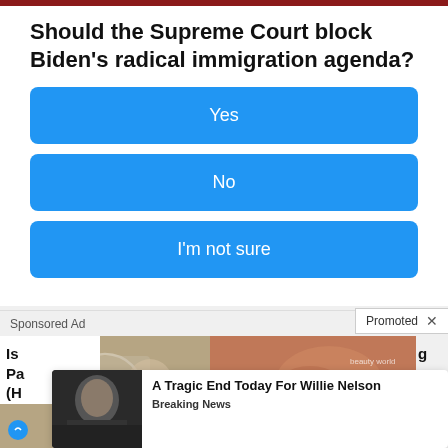Should the Supreme Court block Biden's radical immigration agenda?
Yes
No
I'm not sure
Sponsored Ad
Promoted X
[Figure (photo): Sponsored ad images row: left shows people in a setting, right shows anatomical/medical illustration]
[Figure (photo): Overlay ad card with photo of elderly man and text: A Tragic End Today For Willie Nelson / Breaking News]